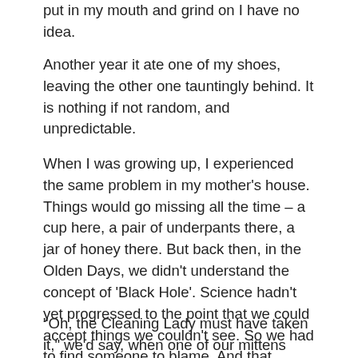put in my mouth and grind on I have no idea.
Another year it ate one of my shoes, leaving the other one tauntingly behind. It is nothing if not random, and unpredictable.
When I was growing up, I experienced the same problem in my mother's house. Things would go missing all the time – a cup here, a pair of underpants there, a jar of honey there. But back then, in the Olden Days, we didn't understand the concept of 'Black Hole'. Science hadn't yet progressed to the point that we could accept things we couldn't see. So we had to find someone to blame. And that person was the Cleaning Lady.
"Oh, the Cleaning Lady must have taken it," we'd say, when one of our mittens went missing; or "Mum! The Cleaning Lady took my school bag again!"